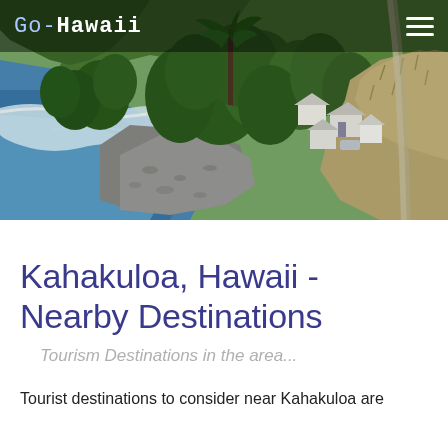[Figure (photo): Aerial photograph of Kahakuloa, Hawaii coast showing rocky beach with blue ocean waves on the left, dense green tropical vegetation and trees in the center, and small white buildings/houses scattered on the right side with dry hillside terrain]
Go-Hawaii  ≡
Kahakuloa, Hawaii - Nearby Destinations
Tourism Destinations in the area...
Tourist destinations to consider near Kahakuloa are